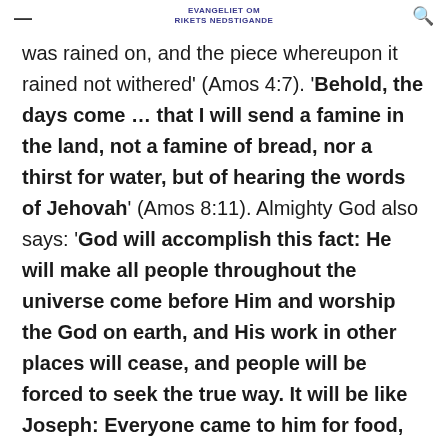EVANGELIET OM RIKETS NEDSTIGANDE
was rained on, and the piece whereupon it rained not withered' (Amos 4:7). 'Behold, the days come … that I will send a famine in the land, not a famine of bread, nor a thirst for water, but of hearing the words of Jehovah' (Amos 8:11). Almighty God also says: 'God will accomplish this fact: He will make all people throughout the universe come before Him and worship the God on earth, and His work in other places will cease, and people will be forced to seek the true way. It will be like Joseph: Everyone came to him for food, and bowed